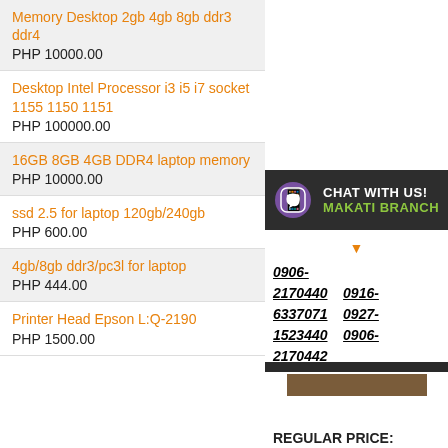Memory Desktop 2gb 4gb 8gb ddr3 ddr4
PHP 10000.00
Desktop Intel Processor i3 i5 i7 socket 1155 1150 1151
PHP 100000.00
16GB 8GB 4GB DDR4 laptop memory
PHP 10000.00
ssd 2.5 for laptop 120gb/240gb
PHP 600.00
4gb/8gb ddr3/pc3l for laptop
PHP 444.00
Printer Head Epson L:Q-2190
PHP 1500.00
[Figure (other): Viber chat banner with purple Viber icon, text CHAT WITH US! and MAKATI BRANCH in green]
0906-2170440   0916-6337071   0927-1523440   0906-2170442
[Figure (other): Dark bar element resembling a laptop or monitor bottom edge]
REGULAR PRICE: